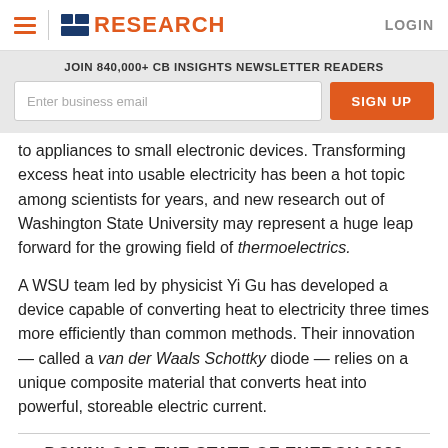CB Insights RESEARCH LOGIN
JOIN 840,000+ CB INSIGHTS NEWSLETTER READERS
to appliances to small electronic devices. Transforming excess heat into usable electricity has been a hot topic among scientists for years, and new research out of Washington State University may represent a huge leap forward for the growing field of thermoelectrics.
A WSU team led by physicist Yi Gu has developed a device capable of converting heat to electricity three times more efficiently than common methods. Their innovation — called a van der Waals Schottky diode — relies on a unique composite material that converts heat into powerful, storeable electric current.
DOWNLOAD THE STATE OF ENERGY 2022